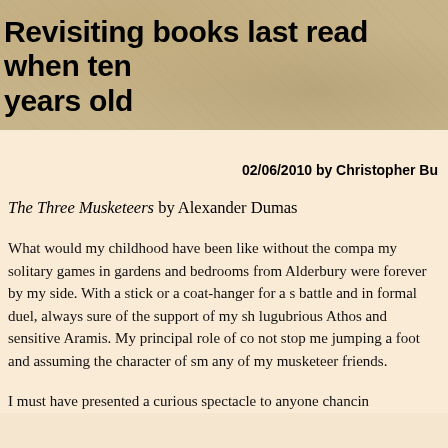Revisiting books last read when ten years old
02/06/2010 by Christopher Bu
The Three Musketeers by Alexander Dumas
What would my childhood have been like without the compa my solitary games in gardens and bedrooms from Alderbury were forever by my side. With a stick or a coat-hanger for a s battle and in formal duel, always sure of the support of my sh lugubrious Athos and sensitive Aramis. My principal role of co not stop me jumping a foot and assuming the character of sm any of my musketeer friends.
I must have presented a curious spectacle to anyone chancin